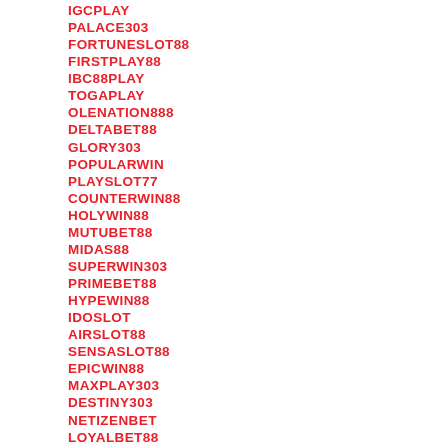IGCPLAY
PALACE303
FORTUNESLOT88
FIRSTPLAY88
IBC88PLAY
TOGAPLAY
OLENATION888
DELTABET88
GLORY303
POPULARWIN
PLAYSLOT77
COUNTERWIN88
HOLYWIN88
MUTUBET88
MIDAS88
SUPERWIN303
PRIMEBET88
HYPEWIN88
IDOSLOT
AIRSLOT88
SENSASLOT88
EPICWIN88
MAXPLAY303
DESTINY303
NETIZENBET
LOYALBET88
BIDWIN88
SUPERBSLOT88
TELEWIN88
NICEWIN88